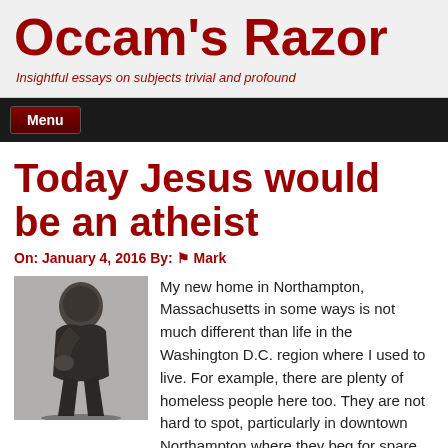Occam's Razor
Insightful essays on subjects trivial and profound
Menu
Today Jesus would be an atheist
On: January 4, 2016 By: Mark
[Figure (photo): Black and white photo of The Thinker statue, a person in contemplative pose with fist under chin]
My new home in Northampton, Massachusetts in some ways is not much different than life in the Washington D.C. region where I used to live. For example, there are plenty of homeless people here too. They are not hard to spot, particularly in downtown Northampton where they beg for spare